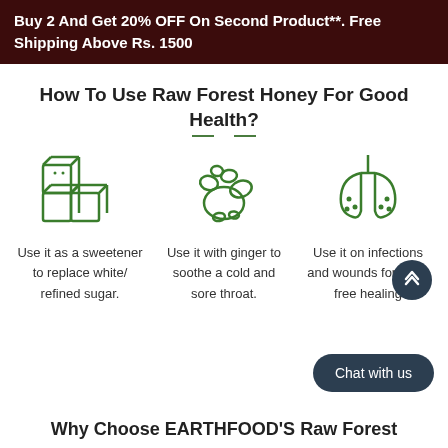Buy 2 And Get 20% OFF On Second Product**. Free Shipping Above Rs. 1500
How To Use Raw Forest Honey For Good Health?
[Figure (infographic): Three green icons: sugar cubes, ginger root, and lungs, each with a usage tip for raw forest honey below them]
Use it as a sweetener to replace white/ refined sugar.
Use it with ginger to soothe a cold and sore throat.
Use it on infections and wounds for scar-free healing
Why Choose EARTHFOOD'S Raw Forest